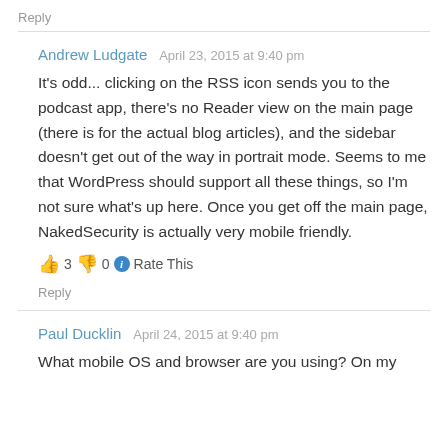Reply
Andrew Ludgate   April 23, 2015 at 9:40 pm
It's odd... clicking on the RSS icon sends you to the podcast app, there's no Reader view on the main page (there is for the actual blog articles), and the sidebar doesn't get out of the way in portrait mode. Seems to me that WordPress should support all these things, so I'm not sure what's up here. Once you get off the main page, NakedSecurity is actually very mobile friendly.
👍 3 👎 0 ℹ Rate This
Reply
Paul Ducklin   April 24, 2015 at 9:40 pm
What mobile OS and browser are you using? On my